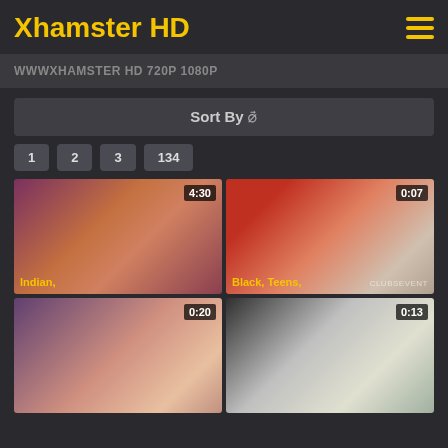Xhamster HD
WWWXHAMSTER HD 720P 1080P
Sort By
1
2
3
134
[Figure (screenshot): Video thumbnail 1 with duration 4:30, tags: Indian,]
[Figure (screenshot): Video thumbnail 2 with duration 0:07, tags: Black, Teens, watermark: CLUBSEVENT]
[Figure (screenshot): Video thumbnail 3 with duration 0:20]
[Figure (screenshot): Video thumbnail 4 with duration 0:13]